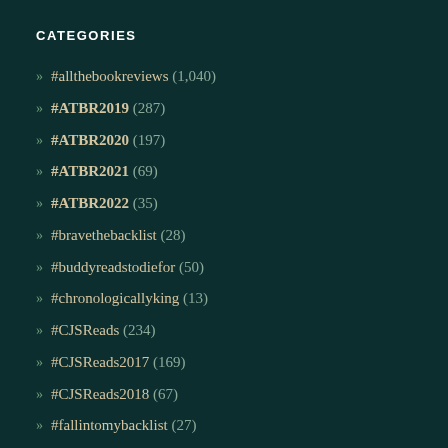CATEGORIES
» #allthebookreviews (1,040)
» #ATBR2019 (287)
» #ATBR2020 (197)
» #ATBR2021 (69)
» #ATBR2022 (35)
» #bravethebacklist (28)
» #buddyreadstodiefor (50)
» #chronologicallyking (13)
» #CJSReads (234)
» #CJSReads2017 (169)
» #CJSReads2018 (67)
» #fallintomybacklist (27)
» #letsTAKaboutit (3)